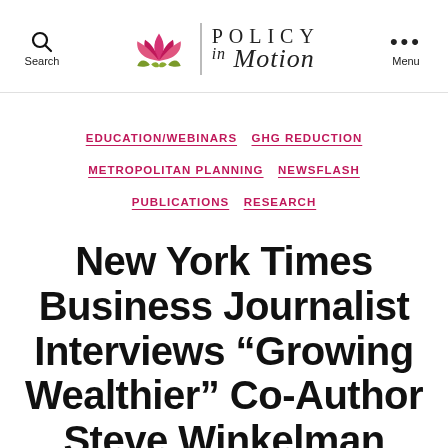Search  |  Policy in Motion  |  Menu
EDUCATION/WEBINARS
GHG REDUCTION
METROPOLITAN PLANNING
NEWSFLASH
PUBLICATIONS
RESEARCH
New York Times Business Journalist Interviews “Growing Wealthier” Co-Author Steve Winkelman